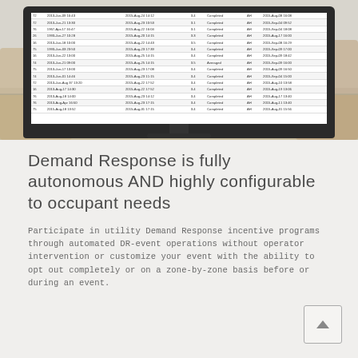[Figure (screenshot): A monitor/TV screen displaying a data table with multiple columns and rows showing dates, status (Completed/Averaged), and numeric values. The monitor sits on a stand on a wooden desk surface with blurred room background.]
Demand Response is fully autonomous AND highly configurable to occupant needs
Participate in utility Demand Response incentive programs through automated DR-event operations without operator intervention or customize your event with the ability to opt out completely or on a zone-by-zone basis before or during an event.